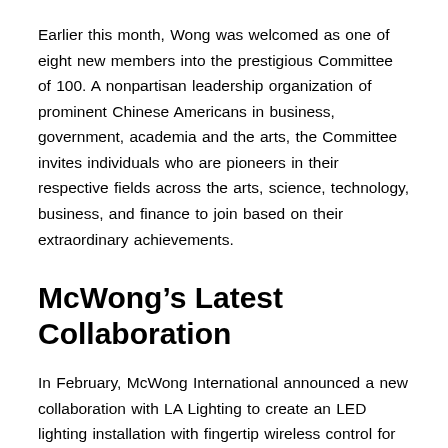Earlier this month, Wong was welcomed as one of eight new members into the prestigious Committee of 100. A nonpartisan leadership organization of prominent Chinese Americans in business, government, academia and the arts, the Committee invites individuals who are pioneers in their respective fields across the arts, science, technology, business, and finance to join based on their extraordinary achievements.
McWong’s Latest Collaboration
In February, McWong International announced a new collaboration with LA Lighting to create an LED lighting installation with fingertip wireless control for light level and white color tuning.